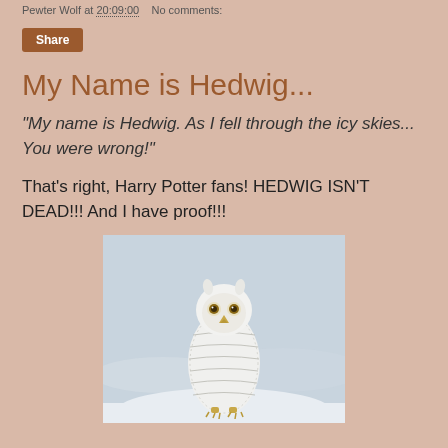Pewter Wolf at 20:09:00   No comments:
Share
My Name is Hedwig...
"My name is Hedwig. As I fell through the icy skies... You were wrong!"
That's right, Harry Potter fans! HEDWIG ISN'T DEAD!!! And I have proof!!!
[Figure (photo): A white snowy owl standing upright on a snowy surface, facing forward, with yellow eyes, against a blurred wintry background.]